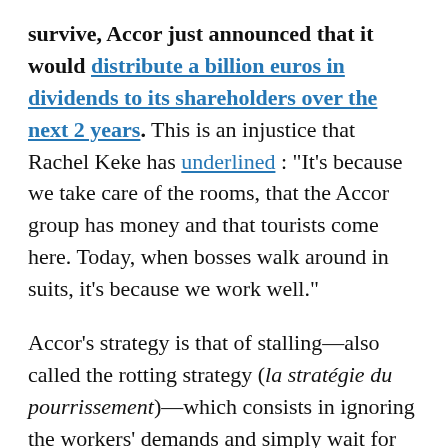survive, Accor just announced that it would distribute a billion euros in dividends to its shareholders over the next 2 years. This is an injustice that Rachel Keke has underlined : "It's because we take care of the rooms, that the Accor group has money and that tourists come here. Today, when bosses walk around in suits, it's because we work well."
Accor's strategy is that of stalling—also called the rotting strategy (la stratégie du pourrissement)—which consists in ignoring the workers' demands and simply wait for the strike to become too expensive to sustain. In response, the strikers occupied the lobby of another Ibis hotel in Paris on January 19 for a few hours, with the Gilets Noirs (Black Vests), who have also mobilized against the abuses of subcontracting. They joined